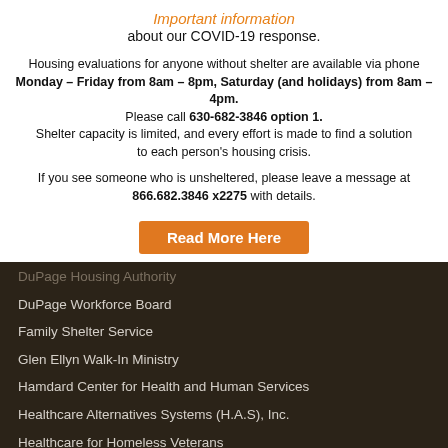Important information about our COVID-19 response.
Housing evaluations for anyone without shelter are available via phone Monday – Friday from 8am – 8pm, Saturday (and holidays) from 8am – 4pm. Please call 630-682-3846 option 1. Shelter capacity is limited, and every effort is made to find a solution to each person's housing crisis.
If you see someone who is unsheltered, please leave a message at 866.682.3846 x2275 with details.
[Figure (other): Orange button labeled 'Read More Here']
DuPage Housing Authority
DuPage Workforce Board
Family Shelter Service
Glen Ellyn Walk-In Ministry
Hamdard Center for Health and Human Services
Healthcare Alternatives Systems (H.A.S), Inc.
Healthcare for Homeless Veterans
HOPE Fair Housing
Hope's Front Door
IDHS, Division of Rehabilitation Services
Literacy Volunteers of DuPage
Loaves and Fishes